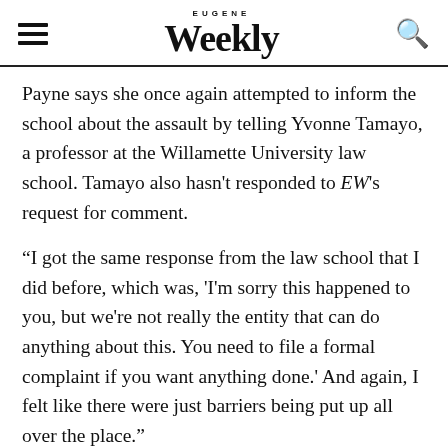Eugene Weekly
Payne says she once again attempted to inform the school about the assault by telling Yvonne Tamayo, a professor at the Willamette University law school. Tamayo also hasn't responded to EW's request for comment.
“I got the same response from the law school that I did before, which was, 'I'm sorry this happened to you, but we're not really the entity that can do anything about this. You need to file a formal complaint if you want anything done.' And again, I felt like there were just barriers being put up all over the place."